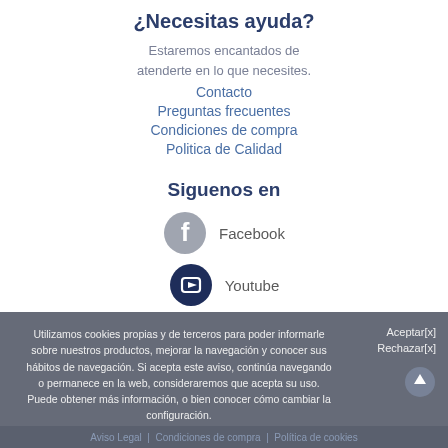¿Necesitas ayuda?
Estaremos encantados de atenderte en lo que necesites.
Contacto
Preguntas frecuentes
Condiciones de compra
Politica de Calidad
Siguenos en
[Figure (logo): Facebook icon circle grey]
Facebook
[Figure (logo): Youtube icon circle dark navy]
Youtube
Utilizamos cookies propias y de terceros para poder informarle sobre nuestros productos, mejorar la navegación y conocer sus hábitos de navegación. Si acepta este aviso, continúa navegando o permanece en la web, consideraremos que acepta su uso. Puede obtener más información, o bien conocer cómo cambiar la configuración. Política de Cookies.
Aceptar[x] Rechazar[x]